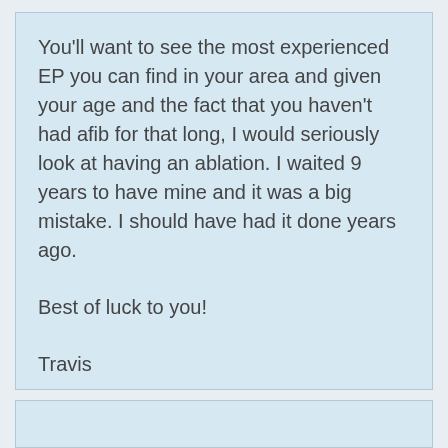You'll want to see the most experienced EP you can find in your area and given your age and the fact that you haven't had afib for that long, I would seriously look at having an ablation. I waited 9 years to have mine and it was a big mistake. I should have had it done years ago.

Best of luck to you!

Travis
[Figure (other): A teal/blue rectangular button labeled REPLY in white bold uppercase letters]